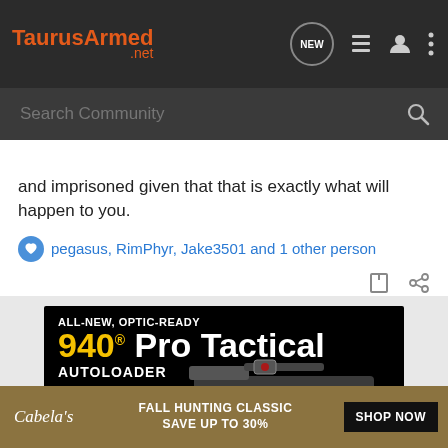TaurusArmed .net
and imprisoned given that that is exactly what will happen to you.
pegasus, RimPhyr, Jake3501 and 1 other person
[Figure (screenshot): 940 Pro Tactical Autoloader advertisement banner — black background with yellow and white text and shotgun photo]
[Figure (screenshot): Cabela's Fall Hunting Classic Save Up To 30% Shop Now banner advertisement]